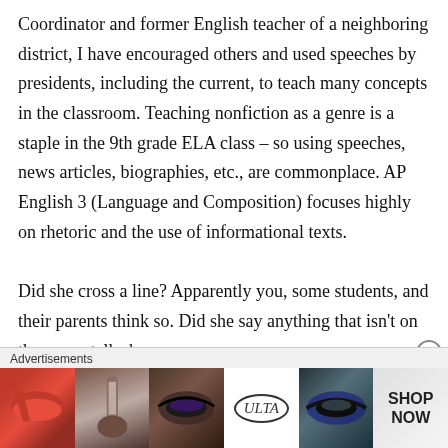Coordinator and former English teacher of a neighboring district, I have encouraged others and used speeches by presidents, including the current, to teach many concepts in the classroom. Teaching nonfiction as a genre is a staple in the 9th grade ELA class – so using speeches, news articles, biographies, etc., are commonplace. AP English 3 (Language and Composition) focuses highly on rhetoric and the use of informational texts.
Did she cross a line? Apparently you, some students, and their parents think so. Did she say anything that isn't on the news, talk shows,
[Figure (other): Advertisement banner for ULTA beauty products showing lipstick, makeup brush, eye makeup, ULTA logo, eye makeup, and SHOP NOW text sections side by side]